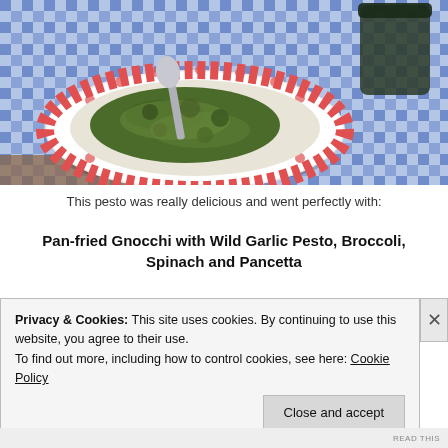[Figure (photo): A red and white floral patterned bowl containing green herb pesto (wild garlic pesto) with a metal spoon resting in it. The bowl sits on a blue and white gingham checkered tablecloth. A dark jar is partially visible in the top right corner.]
This pesto was really delicious and went perfectly with:
Pan-fried Gnocchi with Wild Garlic Pesto, Broccoli, Spinach and Pancetta
Privacy & Cookies: This site uses cookies. By continuing to use this website, you agree to their use.
To find out more, including how to control cookies, see here: Cookie Policy